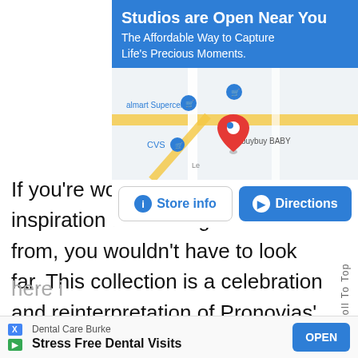[Figure (screenshot): Advertisement banner showing 'Studios are Open Near You' with subtitle 'The Affordable Way to Capture Life's Precious Moments.' on a blue background, below it a Google Maps snippet showing Walmart Supercenter, CVS, and buybuy BABY with a red map pin, followed by Store info and Directions buttons.]
If you're wondering where the inspiration for these gowns came from, you wouldn't have to look far. This collection is a celebration and reinterpretation of Pronovias' own Star Dresses for the 55th Anniversary. What you're seeing here i... belove... to
[Figure (screenshot): Bottom ad banner: Dental Care Burke — Stress Free Dental Visits — OPEN button]